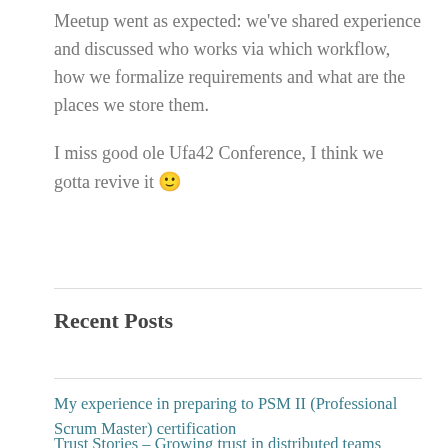Meetup went as expected: we've shared experience and discussed who works via which workflow, how we formalize requirements and what are the places we store them.
I miss good ole Ufa42 Conference, I think we gotta revive it 🙂
Recent Posts
My experience in preparing to PSM II (Professional Scrum Master) certification
Trust Stories – Growing trust in distributed teams